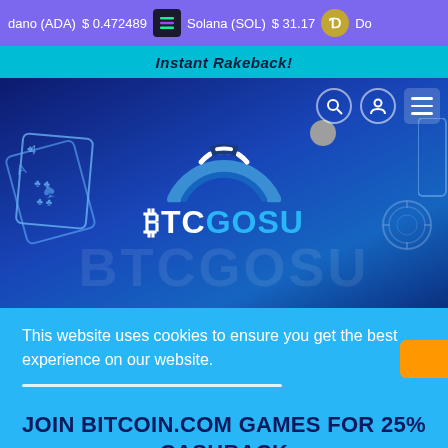dano (ADA)  $ 0.472489   Solana (SOL)  $ 31.17   Do
Instant Rakeback!
[Figure (screenshot): BTCGOSU website hero banner showing logo with casino chip arc graphic, playing cards decoration, watermark text, and navigation icons (search, account, menu)]
This website uses cookies to ensure you get the best experience on our website.
JOIN BITCOIN.COM GAMES FOR 25% CASHBACK
Best Dogecoin Casinos